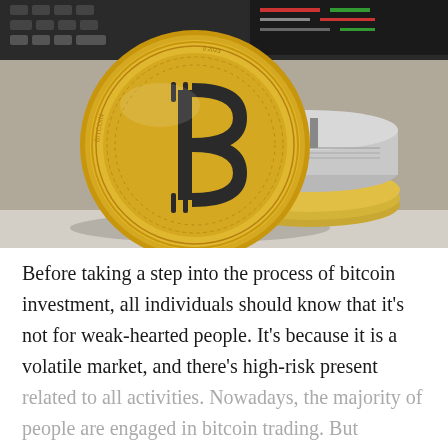[Figure (photo): Photo of a gold Bitcoin physical coin standing upright in front of a stack of silver and gold coins, with a laptop keyboard and trading screen visible in the background.]
Before taking a step into the process of bitcoin investment, all individuals should know that it's not for weak-hearted people. It's because it is a volatile market, and there's high-risk present related to all activities. Nowadays, the majority of people are engaged in bitcoin trading. But